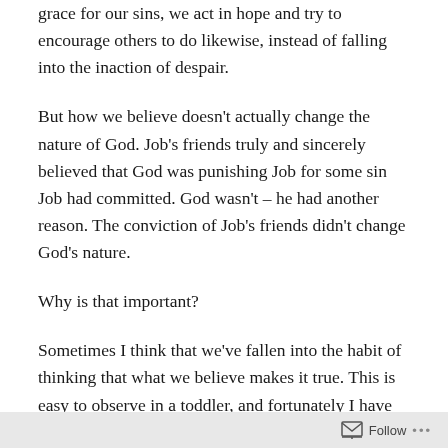grace for our sins, we act in hope and try to encourage others to do likewise, instead of falling into the inaction of despair.
But how we believe doesn't actually change the nature of God. Job's friends truly and sincerely believed that God was punishing Job for some sin Job had committed. God wasn't – he had another reason. The conviction of Job's friends didn't change God's nature.
Why is that important?
Sometimes I think that we've fallen into the habit of thinking that what we believe makes it true. This is easy to observe in a toddler, and fortunately I have one handy to watch. Grey is convinced that if he says that we are outside at the park often enough, then we actually will be outside at the park. A child can think
Follow